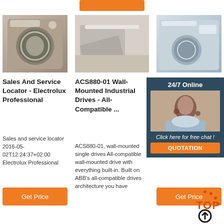[Figure (other): Orange button at top center of page]
[Figure (photo): Washing machine with open door showing laundry inside]
Sales And Service Locator - Electrolux Professional
Sales and service locator 2016-05-02T12:24:37+02:00 Electrolux Professional
[Figure (other): Orange Get Price button]
[Figure (photo): Open dishwasher in modern kitchen setting]
ACS880-01 Wall-Mounted Industrial Drives - All-Compatible ...
ACS880-01, wall-mounted single drives All-compatible wall-mounted drive with everything built-in. Built on ABB's all-compatible drives architecture you have
[Figure (photo): Washing machine and customer service agent with headset, 24/7 Online chat panel]
Dealer - SHIM...
2021-12-14u2002... 2021 shi... all rights reserved ...
[Figure (other): Orange Get Price button]
[Figure (logo): Top arrow logo in orange/black at bottom right]